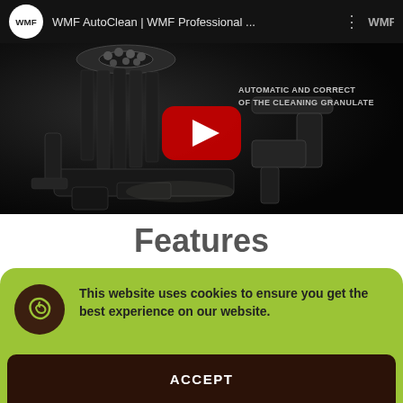[Figure (screenshot): YouTube video thumbnail for WMF AutoClean | WMF Professional ... showing a dark machine component with a red play button and overlay text 'AUTOMATIC AND CORRECT OF THE CLEANING GRANULATE'. Video bar shows WMF logo and title.]
Features
This website uses cookies to ensure you get the best experience on our website.
ACCEPT